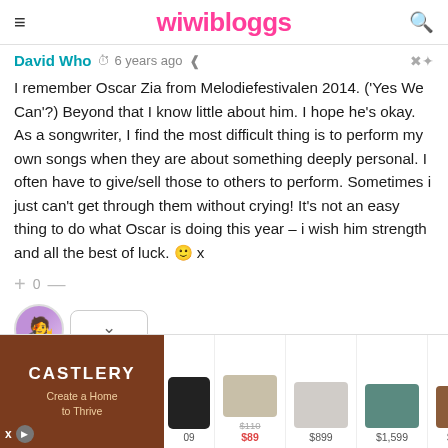wiwibloggs
David Who  6 years ago
I remember Oscar Zia from Melodiefestivalen 2014. ('Yes We Can'?) Beyond that I know little about him. I hope he's okay. As a songwriter, I find the most difficult thing is to perform my own songs when they are about something deeply personal. I often have to give/sell those to others to perform. Sometimes i just can't get through them without crying! It's not an easy thing to do what Oscar is doing this year – i wish him strength and all the best of luck. 🙂 x
+ 0 —
[Figure (screenshot): Advertisement banner for Castlery furniture store showing multiple furniture products with prices: ottoman ($110 crossed out, $89), bed ($899), headboard ($1,599), dresser ($1,299), and partial chair price ($1,5...)]